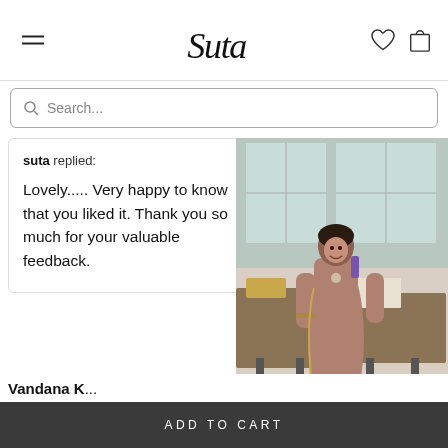Suta — navigation header with hamburger menu, logo, heart icon, and cart icon
Search...
suta replied:
Lovely..... Very happy to know that you liked it. Thank you so much for your valuable feedback.
[Figure (photo): Woman wearing a brownish-pink saree standing in a cafe or exhibition space]
Vandana K...
ADD TO CART